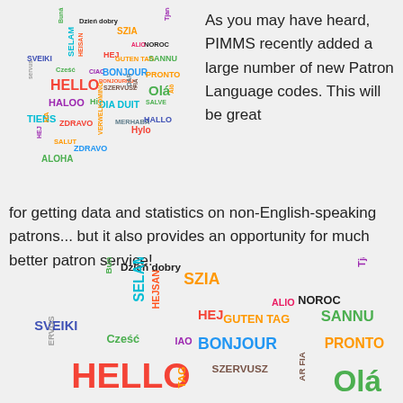[Figure (infographic): Word cloud of greetings in many languages (HELLO, HALOO, TIENS, ALOHA, ZDRAVO, SALUT, HEJ, SVEIKI, Cześć, SELAM, HEISAN, GUTEN TAG, CIAO, BONJOUR, BONJOURNU, DIA DUIT, VERWELKOMING, MERHABA, ZDRAVO, SALVE, HALLO, Hylo, PRONTO, NOROC, Tjanare, SANNU, ALIO, FIA, Buná ziua, Dzień dobry, SZIA, SZERVUSZ, Alô, DÁR FIA) in various colors forming a cross/grid shape]
As you may have heard, PIMMS recently added a large number of new Patron Language codes. This will be great for getting data and statistics on non-English-speaking patrons... but it also provides an opportunity for much better patron service!
[Figure (infographic): Partial word cloud of greetings in many languages visible at bottom of page, same as top word cloud but larger and cropped]